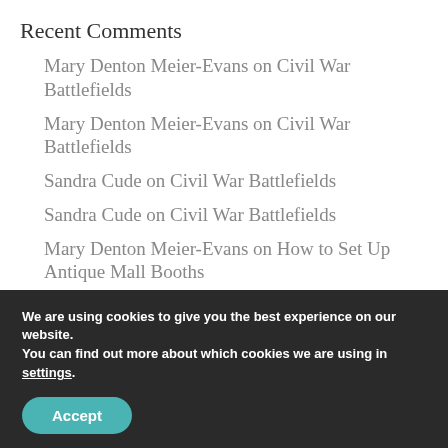Recent Comments
Mary Denton Meier-Evans on Civil War Battlefields
Mary Denton Meier-Evans on Civil War Battlefields
Sandra Cude on Civil War Battlefields
Sandra Cude on Civil War Battlefields
Mary Denton Meier-Evans on How to Set Up Antique Mall Booths
We are using cookies to give you the best experience on our website.
You can find out more about which cookies we are using in settings.